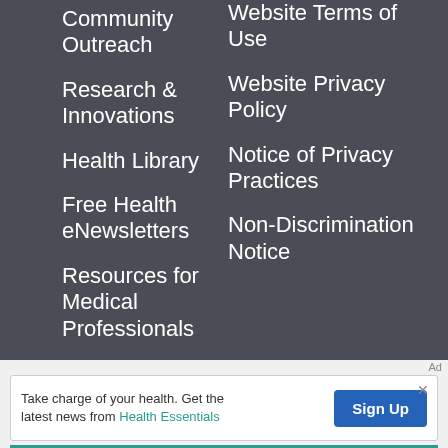Community Outreach
Research & Innovations
Health Library
Free Health eNewsletters
Resources for Medical Professionals
Media Relati…
Website Terms of Use
Website Privacy Policy
Notice of Privacy Practices
Non-Discrimination Notice
Ad
Take charge of your health. Get the latest news from Health Essentials
Sign Up